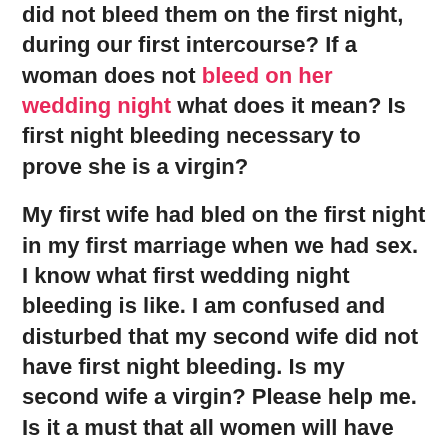did not bleed them on the first night, during our first intercourse? If a woman does not bleed on her wedding night what does it mean? Is first night bleeding necessary to prove she is a virgin?
My first wife had bled on the first night in my first marriage when we had sex. I know what first wedding night bleeding is like. I am confused and disturbed that my second wife did not have first night bleeding. Is my second wife a virgin? Please help me. Is it a must that all women will have first night bleeding?